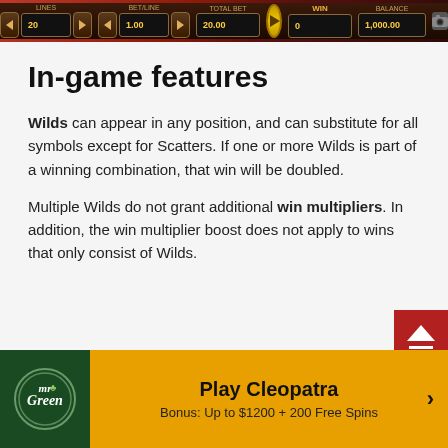[Figure (screenshot): Game UI bar with navigation controls, play button, and display panels on dark background]
In-game features
Wilds can appear in any position, and can substitute for all symbols except for Scatters. If one or more Wilds is part of a winning combination, that win will be doubled.
Multiple Wilds do not grant additional win multipliers. In addition, the win multiplier boost does not apply to wins that only consist of Wilds.
[Figure (screenshot): Footer banner with Mr Green logo and Play Cleopatra CTA button showing Bonus: Up to $1200 + 200 Free Spins]